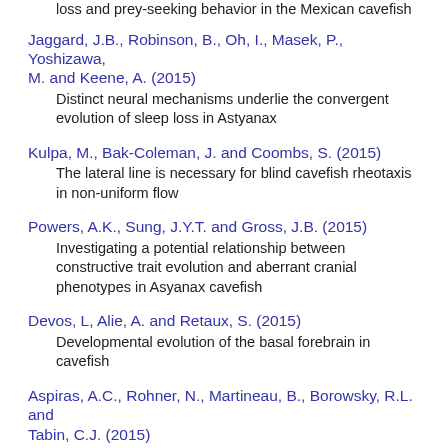loss and prey-seeking behavior in the Mexican cavefish
Jaggard, J.B., Robinson, B., Oh, I., Masek, P., Yoshizawa, M. and Keene, A. (2015)
Distinct neural mechanisms underlie the convergent evolution of sleep loss in Astyanax
Kulpa, M., Bak-Coleman, J. and Coombs, S. (2015)
The lateral line is necessary for blind cavefish rheotaxis in non-uniform flow
Powers, A.K., Sung, J.Y.T. and Gross, J.B. (2015)
Investigating a potential relationship between constructive trait evolution and aberrant cranial phenotypes in Asyanax cavefish
Devos, L, Alie, A. and Retaux, S. (2015)
Developmental evolution of the basal forebrain in cavefish
Aspiras, A.C., Rohner, N., Martineau, B., Borowsky, R.L. and Tabin, C.J. (2015)
Melanocortin 4 receptor mutations contribute to the adaptation of cavefish to nutrient-poor conditions
Dufton, M. and Franz-Odendaal, T.A. (2015)
Morphological diversity in the orbital bones of two teleosts with experimental and natural variation in eye size